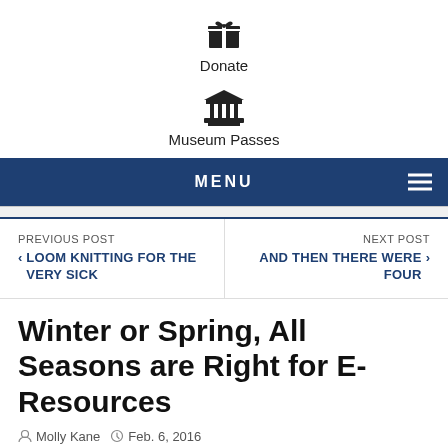[Figure (icon): Gift/donate icon with label 'Donate']
[Figure (icon): Museum/institution icon with label 'Museum Passes']
MENU
PREVIOUS POST
< LOOM KNITTING FOR THE VERY SICK
NEXT POST
AND THEN THERE WERE FOUR >
Winter or Spring, All Seasons are Right for E-Resources
Molly Kane  Feb. 6, 2016